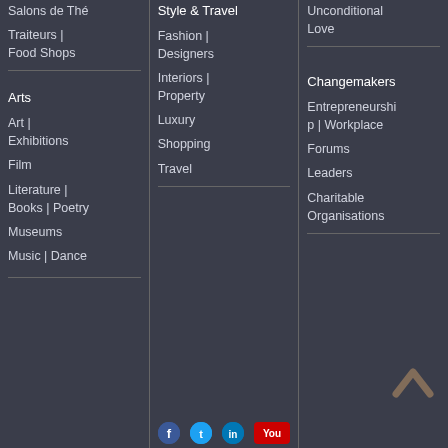Salons de Thé
Traiteurs | Food Shops
Arts
Art | Exhibitions
Film
Literature | Books | Poetry
Museums
Music | Dance
Style & Travel
Fashion | Designers
Interiors | Property
Luxury
Shopping
Travel
Unconditional Love
Changemakers
Entrepreneurship | Workplace
Forums
Leaders
Charitable Organisations